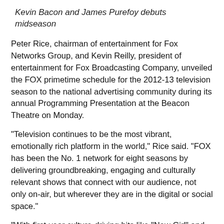Kevin Bacon and James Purefoy debuts midseason
Peter Rice, chairman of entertainment for Fox Networks Group, and Kevin Reilly, president of entertainment for Fox Broadcasting Company, unveiled the FOX primetime schedule for the 2012-13 television season to the national advertising community during its annual Programming Presentation at the Beacon Theatre on Monday.
"Television continues to be the most vibrant, emotionally rich platform in the world," Rice said. "FOX has been the No. 1 network for eight seasons by delivering groundbreaking, engaging and culturally relevant shows that connect with our audience, not only on-air, but wherever they are in the digital or social space."
"With first-year culture-driving hits like "New Girl" and "The X Factor," and strong returning tentpoles like "American Idol" and "Glee," we were laser focused on